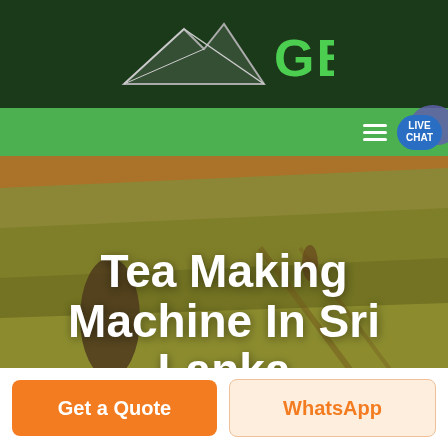[Figure (logo): GBM logo with mountain/arrow graphic on dark green background, green text 'GBM']
[Figure (photo): Aerial view of agricultural fields with warm golden-green tones, trees visible, road/path cutting through]
Tea Making Machine In Sri Lanka
Get a Quote
WhatsApp